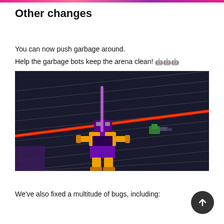Other changes
You can now push garbage around.
Help the garbage bots keep the arena clean! 🤖🤖🤖
[Figure (photo): Screenshot from a video game showing a purple and yellow robot character in an arena with red laser lines and grey striped floor, alongside a smaller green object.]
We've also fixed a multitude of bugs, including: